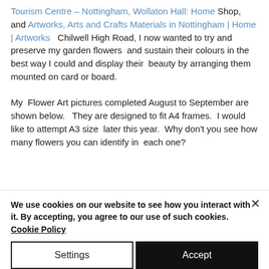Tourism Centre - Nottingham, Wollaton Hall: Home Shop, and Artworks, Arts and Crafts Materials in Nottingham | Home | Artworks   Chilwell High Road, I now wanted to try and preserve my garden flowers  and sustain their colours in the best way I could and display their  beauty by arranging them mounted on card or board.
My  Flower Art pictures completed August to September are shown below.   They are designed to fit A4 frames.  I would like to attempt A3 size  later this year.  Why don't you see how many flowers you can identify in  each one?
We use cookies on our website to see how you interact with it. By accepting, you agree to our use of such cookies. Cookie Policy